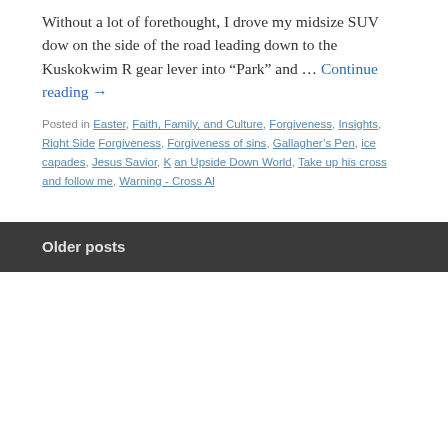Without a lot of forethought, I drove my midsize SUV dow on the side of the road leading down to the Kuskokwim R gear lever into “Park” and ... Continue reading →
Posted in Easter, Faith, Family, and Culture, Forgiveness, Insights, Right Side Forgiveness, Forgiveness of sins, Gallagher’s Pen, ice capades, Jesus Savior, an Upside Down World, Take up his cross and follow me, Warning - Cross Al
Older posts